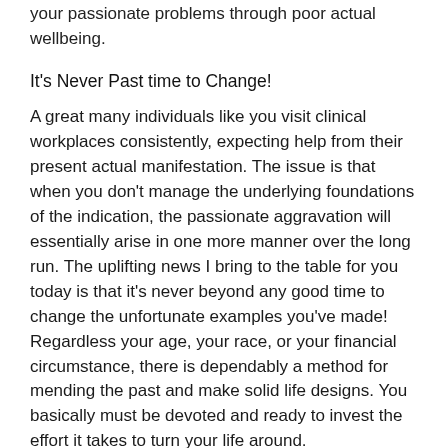your passionate problems through poor actual wellbeing.
It's Never Past time to Change!
A great many individuals like you visit clinical workplaces consistently, expecting help from their present actual manifestation. The issue is that when you don't manage the underlying foundations of the indication, the passionate aggravation will essentially arise in one more manner over the long run. The uplifting news I bring to the table for you today is that it's never beyond any good time to change the unfortunate examples you've made! Regardless your age, your race, or your financial circumstance, there is dependably a method for mending the past and make solid life designs. You basically must be devoted and ready to invest the effort it takes to turn your life around.
Despite the fact that brain research is as yet another science, we have advanced such a great amount throughout recent years that can assist you with significantly changing those old, unfortunate examples.